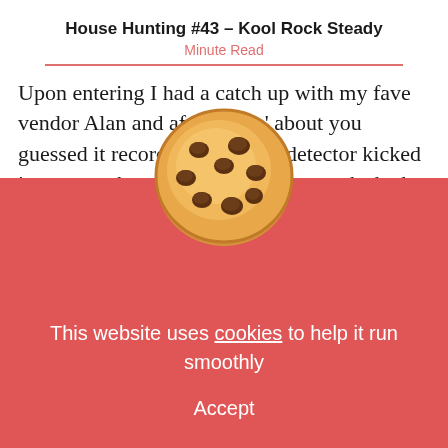House Hunting #43 – Kool Rock Steady
Minute Read
Upon entering I had a catch up with my fave vendor Alan and after talkin' about you guessed it records, my diggin' detector kicked into gear when I scoped the house racks had expanded and were overflowing – kid in a candy store flavour! On flickin' through the crates choice clocks included a W[cookie image]iner 12" on Nervous under his[cookie image]ice (the hard
[Figure (illustration): Cookie emoji - a round chocolate chip cookie overlapping the article text and cookie consent banner]
This website uses cookies to help it run smoothly
Accept